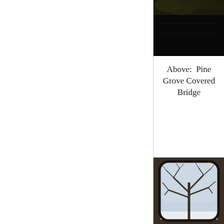[Figure (photo): Top portion of Pine Grove Covered Bridge photo, showing dark wooden beams and some foliage/greenery against a black background, partially cropped at top]
Above:  Pine Grove Covered Bridge
[Figure (photo): View through a rounded rectangular window opening of a covered bridge, showing bare winter tree branches against a pale blue-grey sky with snow on the ground visible at bottom]